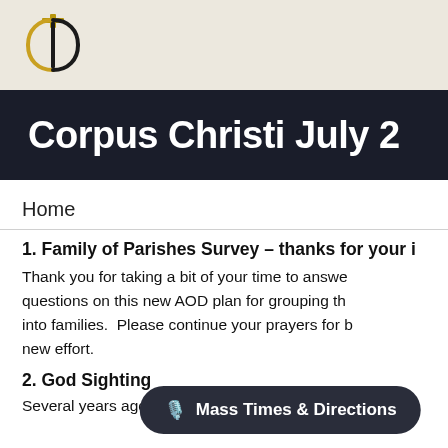[Figure (logo): Corpus Christi church logo — stylized CC with cross, gold and black]
Corpus Christi July 2
Home
1. Family of Parishes Survey – thanks for your i
Thank you for taking a bit of your time to answer questions on this new AOD plan for grouping th into families.  Please continue your prayers for b new effort.
2. God Sighting
Several years ago, here at Corpus Christi, we in
🎤 Mass Times & Directions